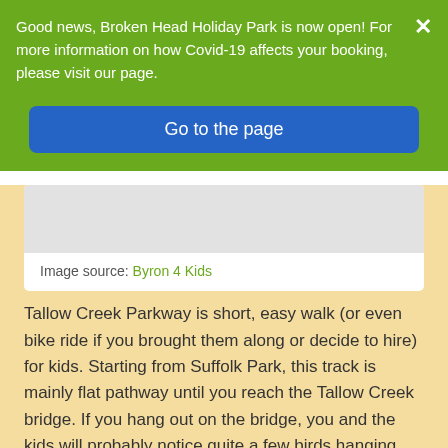Good news, Broken Head Holiday Park is now open! For more information on how Covid-19 affects your booking, please visit our page.
Go to the page
Image source: Byron 4 Kids
Tallow Creek Parkway is short, easy walk (or even bike ride if you brought them along or decide to hire) for kids. Starting from Suffolk Park, this track is mainly flat pathway until you reach the Tallow Creek bridge. If you hang out on the bridge, you and the kids will probably notice quite a few birds hanging around, which is due to the fact that Tallow Creek is zoned as “Special Purpose” for protection, rehabilitation and indigenous use. After the bridge, you’ll follow the pathway to